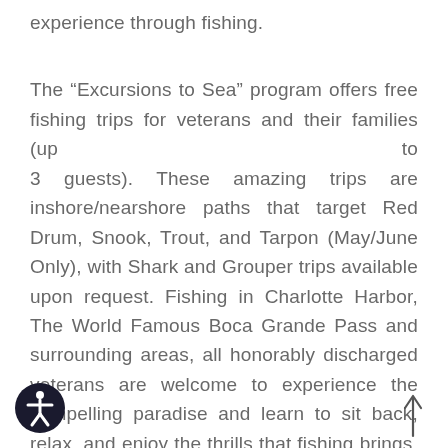experience through fishing.
The “Excursions to Sea” program offers free fishing trips for veterans and their families (up to 3 guests). These amazing trips are inshore/nearshore paths that target Red Drum, Snook, Trout, and Tarpon (May/June Only), with Shark and Grouper trips available upon request. Fishing in Charlotte Harbor, The World Famous Boca Grande Pass and surrounding areas, all honorably discharged veterans are welcome to experience the compelling paradise and learn to sit back, relax, and enjoy the thrills that fishing brings. With priority given to Combat Veterans, Purple Heart Recipients will also be provided accommodations if needed.